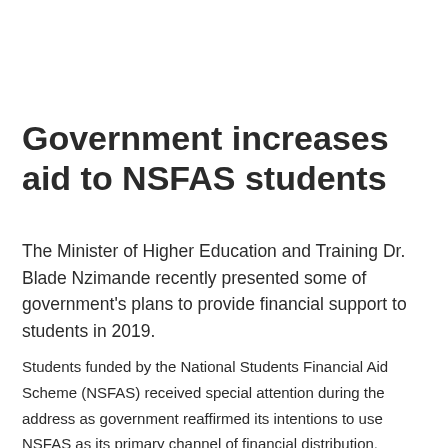Government increases aid to NSFAS students
The Minister of Higher Education and Training Dr. Blade Nzimande recently presented some of government's plans to provide financial support to students in 2019.
Students funded by the National Students Financial Aid Scheme (NSFAS) received special attention during the address as government reaffirmed its intentions to use NSFAS as its primary channel of financial distribution.